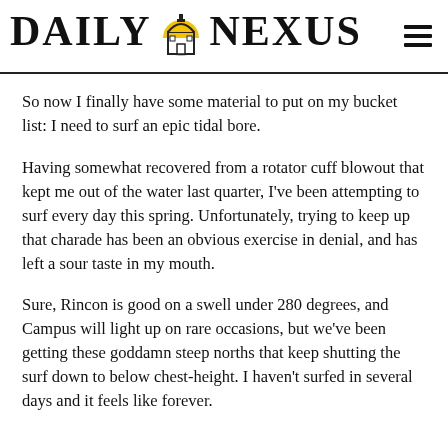Daily Nexus
So now I finally have some material to put on my bucket list: I need to surf an epic tidal bore.
Having somewhat recovered from a rotator cuff blowout that kept me out of the water last quarter, I've been attempting to surf every day this spring. Unfortunately, trying to keep up that charade has been an obvious exercise in denial, and has left a sour taste in my mouth.
Sure, Rincon is good on a swell under 280 degrees, and Campus will light up on rare occasions, but we've been getting these goddamn steep norths that keep shutting the surf down to below chest-height. I haven't surfed in several days and it feels like forever.